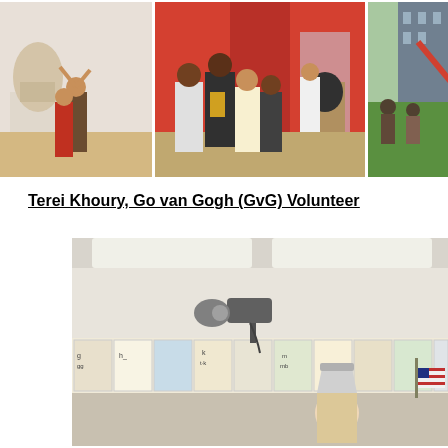[Figure (photo): Three photos side by side: left shows two people posing next to a sculpture in a museum gallery, center shows a group of students listening to a museum guide near an artifact display case, right shows a partial outdoor scene with people on grass.]
Terei Khoury, Go van Gogh (GvG) Volunteer
[Figure (photo): Classroom interior with ceiling lights, alphabet/phonics cards displayed along the wall, a projector mounted from the ceiling, and a hand raising a white bucket from the bottom of the frame. An American flag is visible at the right edge.]